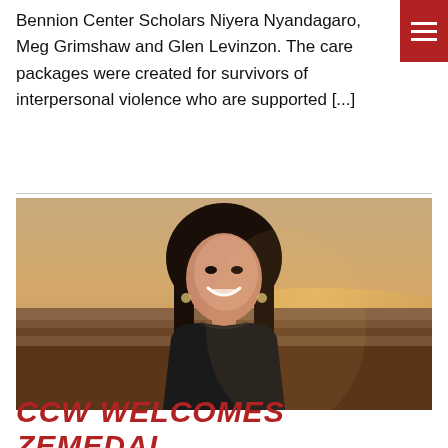Bennion Center Scholars Niyera Nyandagaro, Meg Grimshaw and Glen Levinzon. The care packages were created for survivors of interpersonal violence who are supported [...]
[Figure (photo): Portrait photo of a young woman with long dark hair, smiling, wearing a black sleeveless top, photographed outdoors at sunset with rocky desert landscape in the background.]
CCW WELCOMES ZEMEDAI...